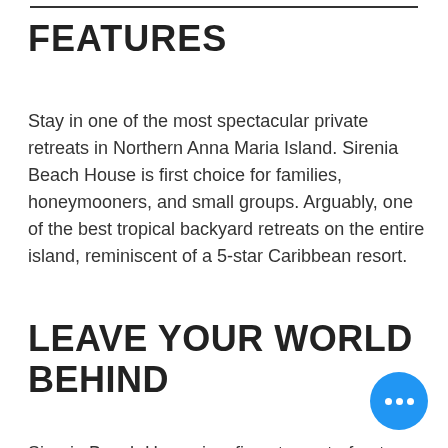FEATURES
Stay in one of the most spectacular private retreats in Northern Anna Maria Island. Sirenia Beach House is first choice for families, honeymooners, and small groups. Arguably, one of the best tropical backyard retreats on the entire island, reminiscent of a 5-star Caribbean resort.
LEAVE YOUR WORLD BEHIND
Sirenia Beach House is a five-star waterfront accommodation, blurring the lines between indoor - outdoor living. Located directly on the waterfront, you are perfectly placed to enjoy boating, fishing, and watersports with short easy access to the Gulf of Mexico bridges. Make a quick getaway to one